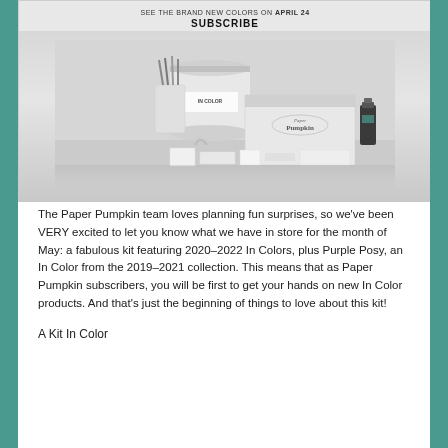[Figure (photo): Product photo showing Paper Pumpkin kit with white cylindrical container, white box labeled 'Paper Pumpkin', crafting supplies, and ink bottle arranged on a white surface. Text overlay reads 'SEE THE BRAND NEW COLORS ON APRIL 24' and 'SUBSCRIBE'.]
The Paper Pumpkin team loves planning fun surprises, so we've been VERY excited to let you know what we have in store for the month of May: a fabulous kit featuring 2020–2022 In Colors, plus Purple Posy, an In Color from the 2019–2021 collection. This means that as Paper Pumpkin subscribers, you will be first to get your hands on new In Color products. And that's just the beginning of things to love about this kit!
A Kit In Color